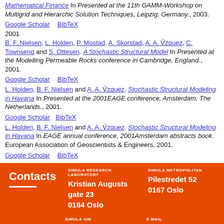Mathematical Finance In Presented at the 11th GAMM-Workshop on Multigrid and Hierarchic Solution Techniques, Leipzig, Germany., 2003.
Google Scholar  BibTeX
2001
B. F. Nielsen, L. Holden, P. Mostad, A. Skorstad, A. A. V´zquez, C. Townsend and S. Ottesen. A Stochastic Structural Model In Presented at the Modelling Permeable Rocks conference in Cambridge, England., 2001.
Google Scholar  BibTeX
L. Holden, B. F. Nielsen and A. A. V´zquez. Stochastic Structural Modeling in Havana In Presented at the 2001EAGE conference, Amsterdam, The Netherlands., 2001.
Google Scholar  BibTeX
L. Holden, B. F. Nielsen and A. A. V´zquez. Stochastic Structural Modeling in Havana In EAGE annual conference, 2001Amsterdam abstracts book. European Association of Geoscientists & Engineers, 2001.
Google Scholar  BibTeX
Contacts
SIMULA RESEARCH LABORATORY
Kristian Augusts gate 23
0164 Oslo
SIMULA METROPOLITAN
Pilestredet 52
0167 Oslo
SIMULA UIB
Thormøhlens gate 53D
5006 Bergen
E-MAIL
post@simula.no
KEEP IN TOUCH